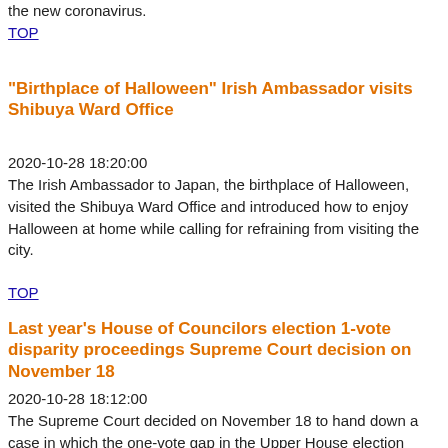the new coronavirus.
TOP
"Birthplace of Halloween" Irish Ambassador visits Shibuya Ward Office
2020-10-28 18:20:00
The Irish Ambassador to Japan, the birthplace of Halloween, visited the Shibuya Ward Office and introduced how to enjoy Halloween at home while calling for refraining from visiting the city.
TOP
Last year's House of Councilors election 1-vote disparity proceedings Supreme Court decision on November 18
2020-10-28 18:12:00
The Supreme Court decided on November 18 to hand down a case in which the one-vote gap in the Upper House election